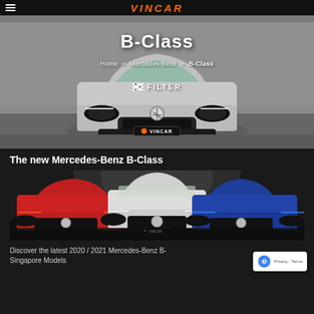VINCAR
B-Class
Home » Mercedes-Benz » B-Class
≡ FILTER
[Figure (photo): Front view of a silver Mercedes-Benz B-Class car with VINCAR license plate badge, parked indoors against a concrete wall background]
The new Mercedes-Benz B-Class
[Figure (photo): Three Mercedes-Benz B-Class cars displayed side by side: red on left, silver/white in center, blue on right, with dark studio background and dramatic lighting]
Discover the latest 2020 / 2021 Mercedes-Benz B-Class Singapore Models